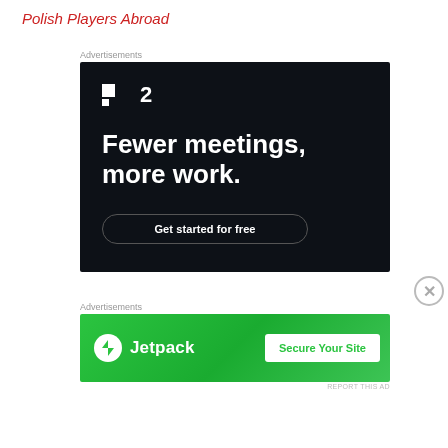Polish Players Abroad
[Figure (screenshot): Advertisement banner for Fewer meetings, more work app with dark background and Get started for free button]
[Figure (screenshot): Advertisement banner for Jetpack with green background and Secure Your Site button]